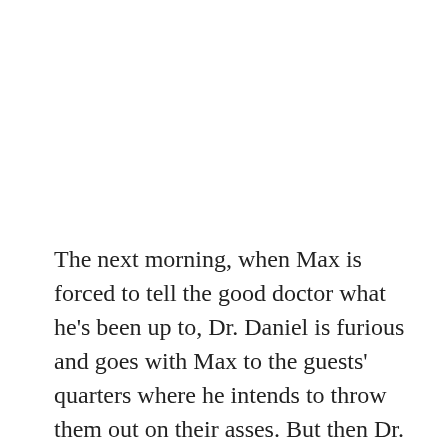The next morning, when Max is forced to tell the good doctor what he's been up to, Dr. Daniel is furious and goes with Max to the guests' quarters where he intends to throw them out on their asses. But then Dr. Daniel sees Maggie, and proceeds to display some incredibly awkward creepy faces as he barely manages to keep from blowing his load right then and there. He then welcomes the bandits